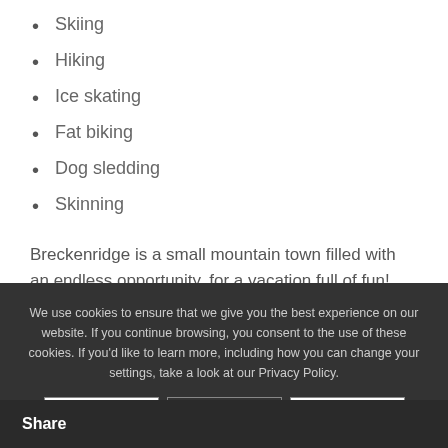Skiing
Hiking
Ice skating
Fat biking
Dog sledding
Skinning
Breckenridge is a small mountain town filled with an endless opportunity, for a vacation full of fun! Pack your bags and meet us in Breckenridge this spring for a time
We use cookies to ensure that we give you the best experience on our website. If you continue browsing, you consent to the use of these cookies. If you'd like to learn more, including how you can change your settings, take a look at our Privacy Policy.
Share